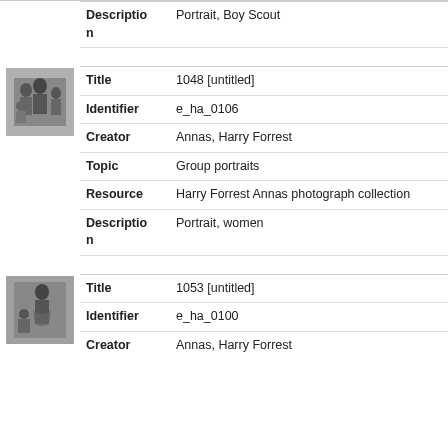| Field | Value |
| --- | --- |
| Description | Portrait, Boy Scout |
[Figure (photo): Black and white group portrait photograph thumbnail showing family group]
| Field | Value |
| --- | --- |
| Title | 1048 [untitled] |
| Identifier | e_ha_0106 |
| Creator | Annas, Harry Forrest |
| Topic | Group portraits |
| Resource | Harry Forrest Annas photograph collection |
| Description | Portrait, women |
[Figure (photo): Black and white portrait photograph thumbnail showing woman and child]
| Field | Value |
| --- | --- |
| Title | 1053 [untitled] |
| Identifier | e_ha_0100 |
| Creator | Annas, Harry Forrest |